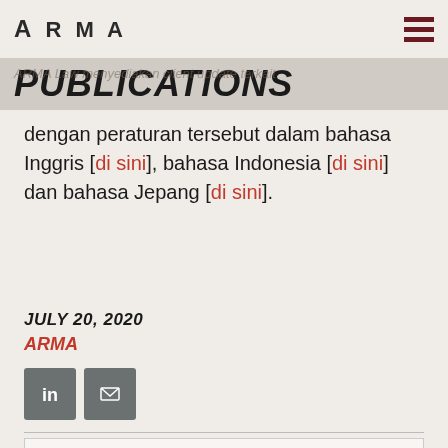ARMA
PUBLICATIONS
ARMA Law menyediakan client update terkait dengan peraturan tersebut dalam bahasa Inggris [di sini], bahasa Indonesia [di sini] dan bahasa Jepang [di sini].
JULY 20, 2020
ARMA
[Figure (other): LinkedIn and email social share icon buttons]
Disclaimer: This client update is the property of ARMA Law